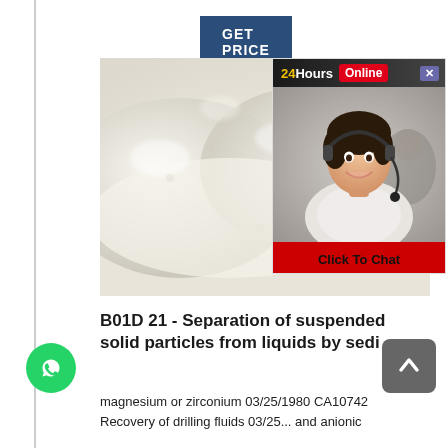[Figure (other): GET PRICE button, dark navy blue background with white uppercase text]
[Figure (photo): White powdery substance (fine white powder) photographed close-up on a white surface]
[Figure (photo): 24Hours Online live chat widget overlay showing a customer service representative woman wearing headset, smiling, with 'Click To Chat' red button]
B01D 21 - Separation of suspended solid particles from liquids by sedi
magnesium or zirconium 03/25/1980 CA10742
Recovery of drilling fluids 03/25... and anionic